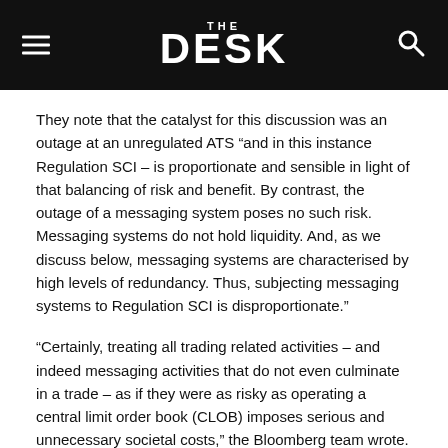THE DESK
They note that the catalyst for this discussion was an outage at an unregulated ATS “and in this instance Regulation SCI – is proportionate and sensible in light of that balancing of risk and benefit. By contrast, the outage of a messaging system poses no such risk. Messaging systems do not hold liquidity. And, as we discuss below, messaging systems are characterised by high levels of redundancy. Thus, subjecting messaging systems to Regulation SCI is disproportionate.”
“Certainly, treating all trading related activities – and indeed messaging activities that do not even culminate in a trade – as if they were as risky as operating a central limit order book (CLOB) imposes serious and unnecessary societal costs,” the Bloomberg team wrote. “While it is important to treat ‘like things alike’, non-redundant liquidity centres are not ‘like’ redundant messaging systems. While the benefits of having one regulatory standard for activities posing vastly different risks is unclear, the downsides are much easier to grasp, and are in part conceded by the